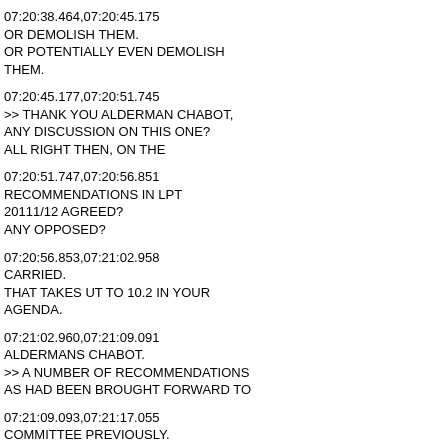07:20:38.464,07:20:45.175
OR DEMOLISH THEM.
OR POTENTIALLY EVEN DEMOLISH THEM.
07:20:45.177,07:20:51.745
>> THANK YOU ALDERMAN CHABOT, ANY DISCUSSION ON THIS ONE?
ALL RIGHT THEN, ON THE
07:20:51.747,07:20:56.851
RECOMMENDATIONS IN LPT 20111/12 AGREED?
ANY OPPOSED?
07:20:56.853,07:21:02.958
CARRIED.
THAT TAKES UT TO 10.2 IN YOUR AGENDA.
07:21:02.960,07:21:09.091
ALDERMANS CHABOT.
>> A NUMBER OF RECOMMENDATIONS AS HAD BEEN BROUGHT FORWARD TO
07:21:09.093,07:21:17.055
COMMITTEE PREVIOUSLY.